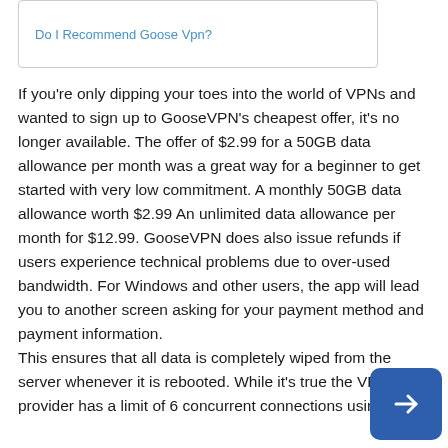Do I Recommend Goose Vpn?
If you're only dipping your toes into the world of VPNs and wanted to sign up to GooseVPN's cheapest offer, it's no longer available. The offer of $2.99 for a 50GB data allowance per month was a great way for a beginner to get started with very low commitment. A monthly 50GB data allowance worth $2.99 An unlimited data allowance per month for $12.99. GooseVPN does also issue refunds if users experience technical problems due to over-used bandwidth. For Windows and other users, the app will lead you to another screen asking for your payment method and payment information.
This ensures that all data is completely wiped from the server whenever it is rebooted. While it's true the VPN provider has a limit of 6 concurrent connections using the